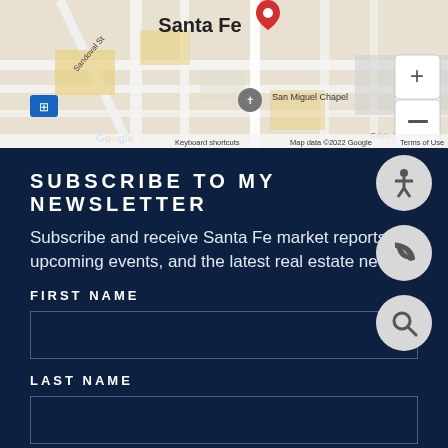[Figure (map): Google Maps screenshot showing Santa Fe area with a red location pin, San Miguel Chapel marker, streets including Sandoval St, and map controls (+ and - zoom buttons). Google logo and attribution visible at bottom.]
SUBSCRIBE TO MY NEWSLETTER
Subscribe and receive Santa Fe market reports, upcoming events, and the latest real estate news.
FIRST NAME
LAST NAME